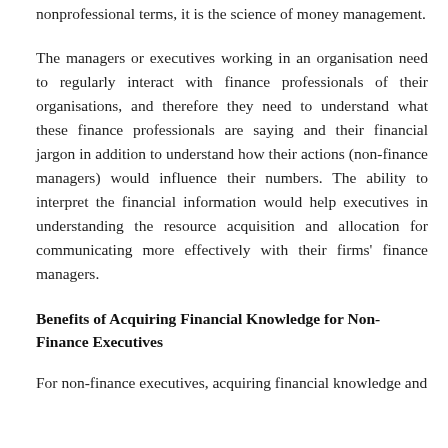nonprofessional terms, it is the science of money management.
The managers or executives working in an organisation need to regularly interact with finance professionals of their organisations, and therefore they need to understand what these finance professionals are saying and their financial jargon in addition to understand how their actions (non-finance managers) would influence their numbers. The ability to interpret the financial information would help executives in understanding the resource acquisition and allocation for communicating more effectively with their firms' finance managers.
Benefits of Acquiring Financial Knowledge for Non-Finance Executives
For non-finance executives, acquiring financial knowledge and